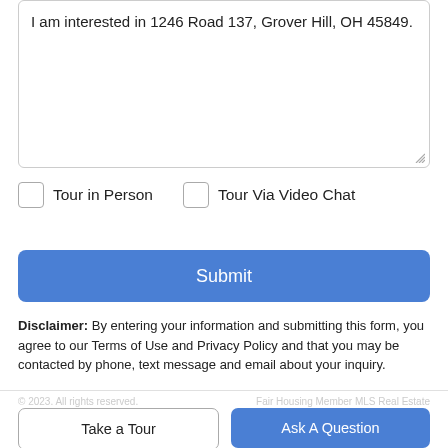I am interested in 1246 Road 137, Grover Hill, OH 45849.
Tour in Person
Tour Via Video Chat
Submit
Disclaimer: By entering your information and submitting this form, you agree to our Terms of Use and Privacy Policy and that you may be contacted by phone, text message and email about your inquiry.
Take a Tour
Ask A Question